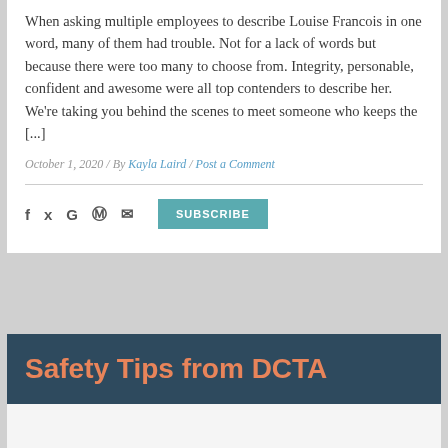When asking multiple employees to describe Louise Francois in one word, many of them had trouble. Not for a lack of words but because there were too many to choose from. Integrity, personable, confident and awesome were all top contenders to describe her. We're taking you behind the scenes to meet someone who keeps the [...]
October 1, 2020 / By Kayla Laird / Post a Comment
[Figure (other): Social sharing icons (Facebook, Twitter, Google, Pinterest, Email) and a Subscribe button]
Safety Tips from DCTA